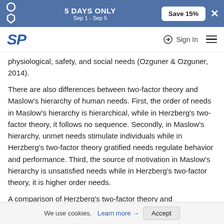5 DAYS ONLY Sep 1 - Sep 5  Save 15%
SP  Sign In
physiological, safety, and social needs (Ozguner & Ozguner, 2014).
There are also differences between two-factor theory and Maslow's hierarchy of human needs. First, the order of needs in Maslow's hierarchy is hierarchical, while in Herzberg's two-factor theory, it follows no sequence. Secondly, in Maslow's hierarchy, unmet needs stimulate individuals while in Herzberg's two-factor theory gratified needs regulate behavior and performance. Third, the source of motivation in Maslow's hierarchy is unsatisfied needs while in Herzberg's two-factor theory, it is higher order needs.
A comparison of Herzberg's two-factor theory and
We use cookies. Learn more → Accept